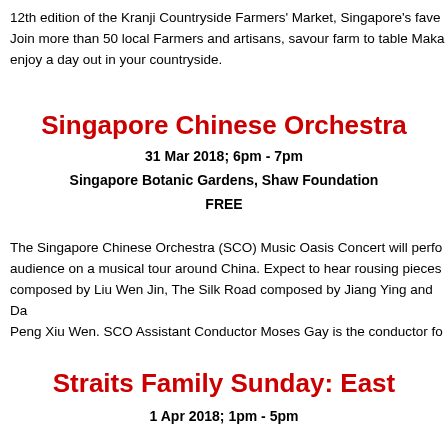12th edition of the Kranji Countryside Farmers' Market, Singapore's fave... Join more than 50 local Farmers and artisans, savour farm to table Maka... enjoy a day out in your countryside.
Singapore Chinese Orchestra
31 Mar 2018; 6pm - 7pm
Singapore Botanic Gardens, Shaw Foundation
FREE
The Singapore Chinese Orchestra (SCO) Music Oasis Concert will perfo... audience on a musical tour around China. Expect to hear rousing pieces composed by Liu Wen Jin, The Silk Road composed by Jiang Ying and Da... Peng Xiu Wen. SCO Assistant Conductor Moses Gay is the conductor fo...
Straits Family Sunday: East...
1 Apr 2018; 1pm - 5pm